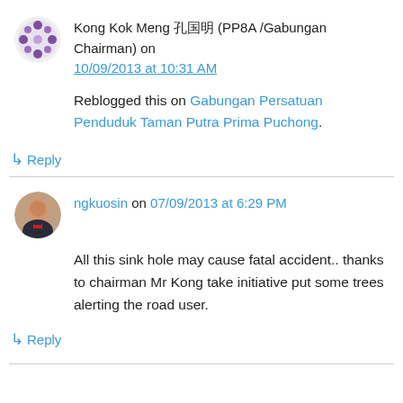Kong Kok Meng 孔国明 (PP8A /Gabungan Chairman) on 10/09/2013 at 10:31 AM
Reblogged this on Gabungan Persatuan Penduduk Taman Putra Prima Puchong.
↳ Reply
ngkuosin on 07/09/2013 at 6:29 PM
All this sink hole may cause fatal accident.. thanks to chairman Mr Kong take initiative put some trees alerting the road user.
↳ Reply